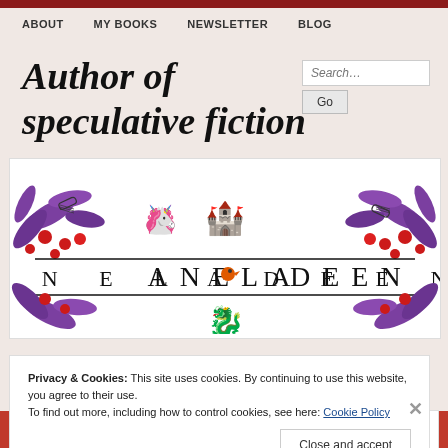ABOUT   MY BOOKS   NEWSLETTER   BLOG
Author of speculative fiction
[Figure (logo): Anela Deen author logo with decorative floral border featuring purple leaves, red flowers, a castle silhouette with unicorns on top, an orange bird, and a black dragon silhouette below]
Privacy & Cookies: This site uses cookies. By continuing to use this website, you agree to their use. To find out more, including how to control cookies, see here: Cookie Policy
Close and accept
email with more privacy.